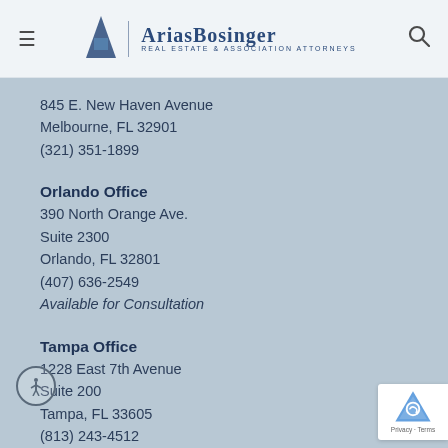Arias Bosinger — Real Estate & Association Attorneys
845 E. New Haven Avenue
Melbourne, FL 32901
(321) 351-1899
Orlando Office
390 North Orange Ave.
Suite 2300
Orlando, FL 32801
(407) 636-2549
Available for Consultation
Tampa Office
1228 East 7th Avenue
Suite 200
Tampa, FL 33605
(813) 243-4512